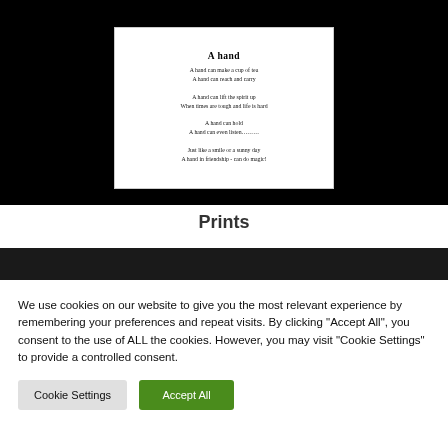[Figure (illustration): A framed print with a poem titled 'A hand' on white background inside a black frame, showing poem lines about what a hand can do.]
Prints
[Figure (screenshot): Dark navigation/header bar of a website]
We use cookies on our website to give you the most relevant experience by remembering your preferences and repeat visits. By clicking "Accept All", you consent to the use of ALL the cookies. However, you may visit "Cookie Settings" to provide a controlled consent.